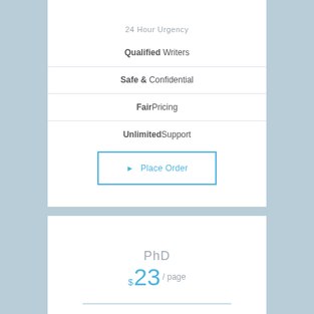24 Hour Urgency
Qualified Writers
Safe & Confidential
FairPricing
UnlimitedSupport
▶ Place Order
PhD
$ 23 / page